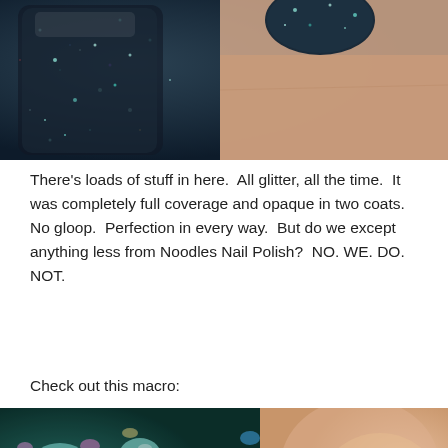[Figure (photo): Close-up photo of a glitter nail polish bottle with dark blue/teal holographic glitter, alongside a finger with the same glitter polish applied to the nail.]
There's loads of stuff in here.  All glitter, all the time.  It was completely full coverage and opaque in two coats.  No gloop.  Perfection in every way.  But do we except anything less from Noodles Nail Polish?  NO. WE. DO. NOT.
Check out this macro:
[Figure (photo): Macro close-up photo of a nail with holographic chunky glitter polish applied, showing colorful iridescent glitter pieces up close, with a blurred peach/skin tone background.]